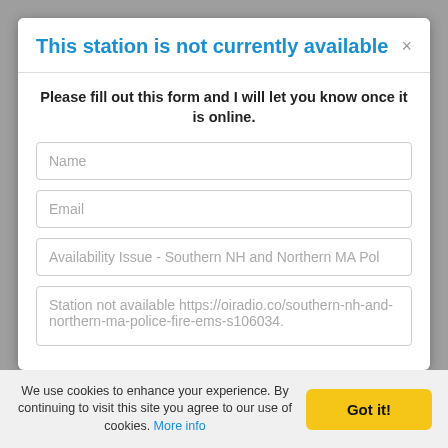This station is not currently available
Please fill out this form and I will let you know once it is online.
Name
Email
Availability Issue - Southern NH and Northern MA Pol
Station not available https://oiradio.co/southern-nh-and-northern-ma-police-fire-ems-s106034.
We use cookies to enhance your experience. By continuing to visit this site you agree to our use of cookies. More info